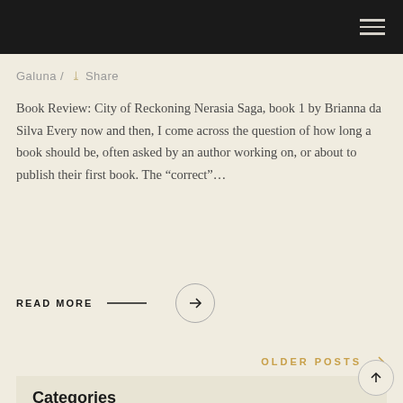Galuna / Share
Book Review: City of Reckoning Nerasia Saga, book 1 by Brianna da Silva Every now and then, I come across the question of how long a book should be, often asked by an author working on, or about to publish their first book. The “correct”…
READ MORE →
OLDER POSTS →
Categories
BOOK REVIEWS